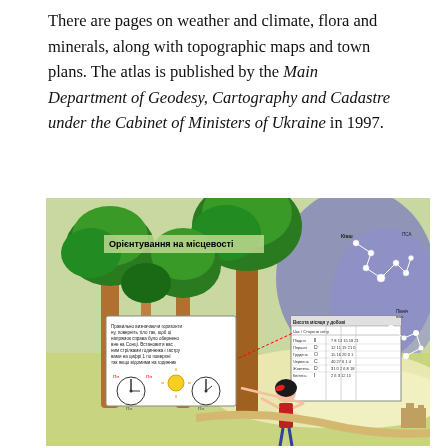There are pages on weather and climate, flora and minerals, along with topographic maps and town plans. The atlas is published by the Main Department of Geodesy, Cartography and Cadastre under the Cabinet of Ministers of Ukraine in 1997.
[Figure (illustration): A colorful atlas page spread showing a Ukrainian educational illustration titled 'Орієнтування на місцевості' (Orientation in terrain). It features a forest scene with tall trees, a girl pointing at a signboard with clocks and sun diagrams for orientation, a table with celestial/constellation data, and a map with star constellation patterns on the right side.]